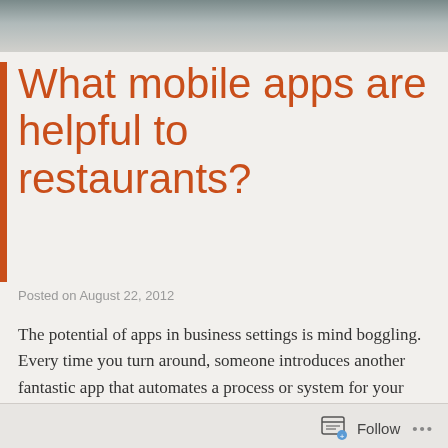What mobile apps are helpful to restaurants?
Posted on August 22, 2012
The potential of apps in business settings is mind boggling. Every time you turn around, someone introduces another fantastic app that automates a process or system for your business or personal life for a very cheap price. Unlike software, apps don't carry a lot of packages, postage and marketing overhead. An app is hosted on a website and you use it via the internet, making traditional distribution methods for software worthless overhead.
Follow ...